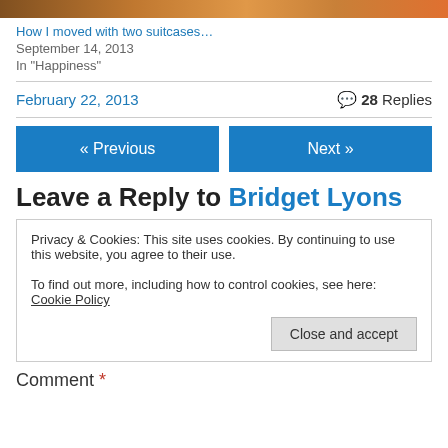[Figure (photo): Partial photo visible at top of page, showing people in orange clothing]
How I moved with two suitcases…
September 14, 2013
In "Happiness"
February 22, 2013  💬 28 Replies
« Previous
Next »
Leave a Reply to Bridget Lyons
Privacy & Cookies: This site uses cookies. By continuing to use this website, you agree to their use.
To find out more, including how to control cookies, see here: Cookie Policy
Close and accept
Comment *